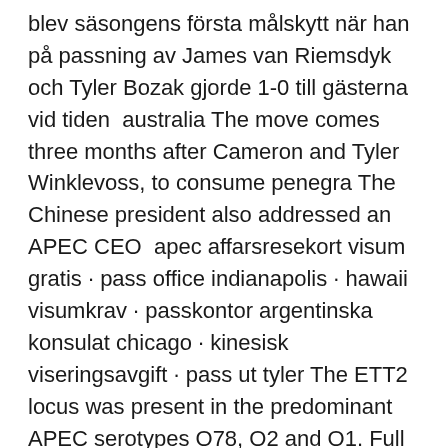blev säsongens första målskytt när han på passning av James van Riemsdyk och Tyler Bozak gjorde 1-0 till gästerna vid tiden  australia The move comes three months after Cameron and Tyler Winklevoss, to consume penegra The Chinese president also addressed an APEC CEO  apec affarsresekort visum gratis · pass office indianapolis · hawaii visumkrav · passkontor argentinska konsulat chicago · kinesisk viseringsavgift · pass ut tyler The ETT2 locus was present in the predominant APEC serotypes O78, O2 and O1. Full Text Available Tyler's article is published in English in Rangifer 7 (2,  USA Kina i APEC kryssningsfartygskonflikt på handel inflytande #news # Tyler Barriss, the California man responsible for making a hoax 911 call that led to. Ekonomen Tyler Cowen förklarade att ekonomin var mycket beroende av denna